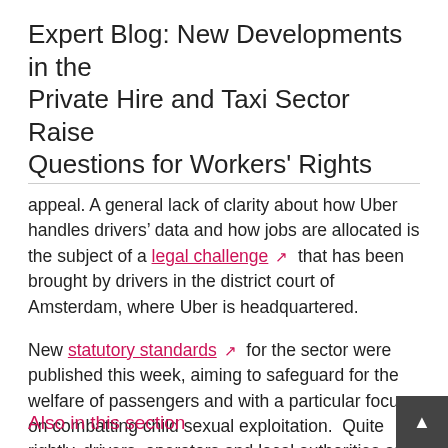Expert Blog: New Developments in the Private Hire and Taxi Sector Raise Questions for Workers' Rights
appeal. A general lack of clarity about how Uber handles drivers' data and how jobs are allocated is the subject of a legal challenge that has been brought by drivers in the district court of Amsterdam, where Uber is headquartered.
New statutory standards for the sector were published this week, aiming to safeguard for the welfare of passengers and with a particular focus on combatting child sexual exploitation.  Quite rightly, drivers, operators and local authorities are all helping to share responsibility for this. A logical next step would
Also in this section